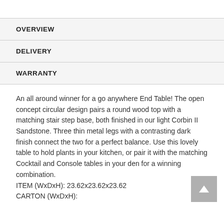OVERVIEW
DELIVERY
WARRANTY
An all around winner for a go anywhere End Table! The open concept circular design pairs a round wood top with a matching stair step base, both finished in our light Corbin II Sandstone. Three thin metal legs with a contrasting dark finish connect the two for a perfect balance. Use this lovely table to hold plants in your kitchen, or pair it with the matching Cocktail and Console tables in your den for a winning combination.
ITEM (WxDxH): 23.62x23.62x23.62
CARTON (WxDxH):